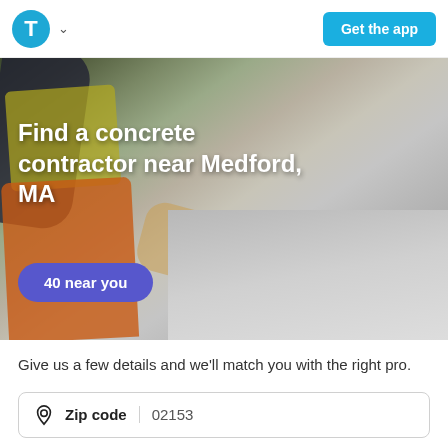[Figure (screenshot): App header with Thumbtack logo (T in blue circle) with chevron dropdown and 'Get the app' teal button]
[Figure (photo): Worker in orange pants and yellow safety vest kneeling on concrete, smoothing wet concrete with a float tool. Background shows grey concrete surface.]
Find a concrete contractor near Medford, MA
40 near you
Give us a few details and we'll match you with the right pro.
Zip code  02153